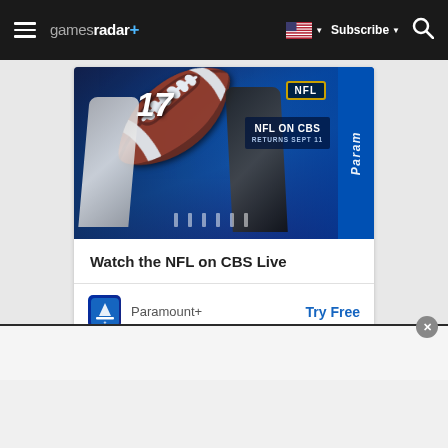gamesradar+ | Subscribe | Search
[Figure (screenshot): NFL on CBS promotional banner showing football players in blue uniform (#17) and dark uniform, with NFL logo, text 'NFL ON CBS RETURNS SEPT 11', and Paramount+ branding on blue right stripe]
Watch the NFL on CBS Live
Paramount+  Try Free